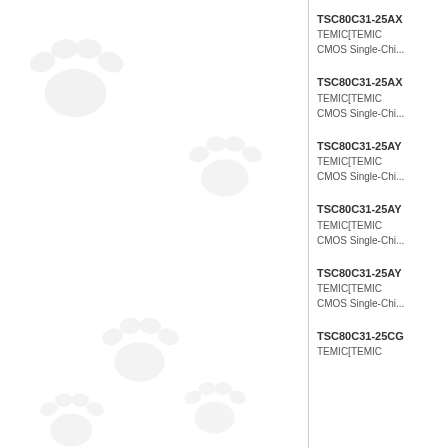[Figure (illustration): Decorative paw print watermarks on white background, left panel]
TSC80C31-25AX...
TEMIC[TEMIC
CMOS Single-Chi...
TSC80C31-25AX...
TEMIC[TEMIC
CMOS Single-Chi...
TSC80C31-25AY...
TEMIC[TEMIC
CMOS Single-Chi...
TSC80C31-25AY...
TEMIC[TEMIC
CMOS Single-Chi...
TSC80C31-25AY...
TEMIC[TEMIC
CMOS Single-Chi...
TSC80C31-25CG...
TEMIC[TEMIC